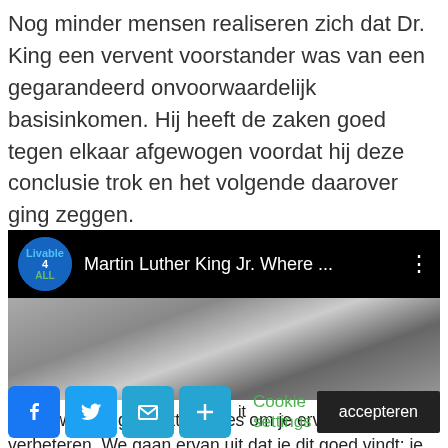Nog minder mensen realiseren zich dat Dr. King een vervent voorstander was van een gegarandeerd onvoorwaardelijk basisinkomen. Hij heeft de zaken goed tegen elkaar afgewogen voordat hij deze conclusie trok en het volgende daarover ging zeggen.
[Figure (screenshot): YouTube video thumbnail showing 'Livable 4 All' channel logo and video title 'Martin Luther King Jr. Where ...' with a black and white background image]
Deze website gebruikt cookies om je ervaring te verbeteren. We gaan ervan uit dat je dit goed vindt: je kan ze echter uitzetten als
Cookie settings   accepteren